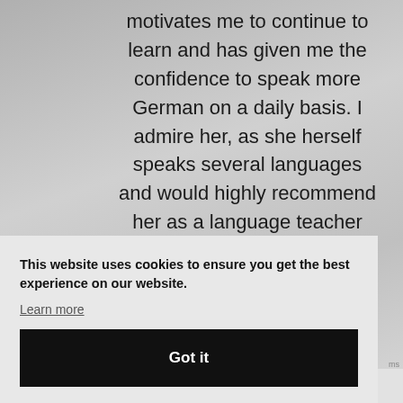motivates me to continue to learn and has given me the confidence to speak more German on a daily basis. I admire her, as she herself speaks several languages and would highly recommend her as a language teacher
This website uses cookies to ensure you get the best experience on our website.
Learn more
Got it